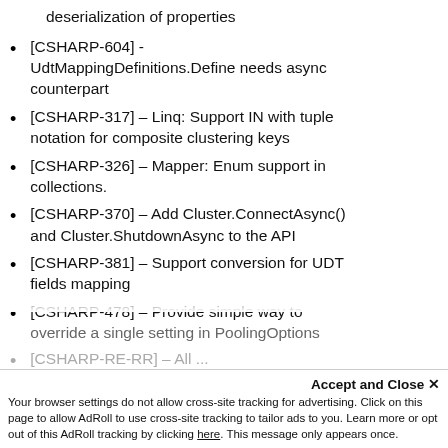deserialization of properties
[CSHARP-604] - UdtMappingDefinitions.Define needs async counterpart
[CSHARP-317] – Linq: Support IN with tuple notation for composite clustering keys
[CSHARP-326] – Mapper: Enum support in collections.
[CSHARP-370] – Add Cluster.ConnectAsync() and Cluster.ShutdownAsync to the API
[CSHARP-381] – Support conversion for UDT fields mapping
[CSHARP-478] – Provide simple way to override a single setting in PoolingOptions
Accept and Close ✕
Your browser settings do not allow cross-site tracking for advertising. Click on this page to allow AdRoll to use cross-site tracking to tailor ads to you. Learn more or opt out of this AdRoll tracking by clicking here. This message only appears once.